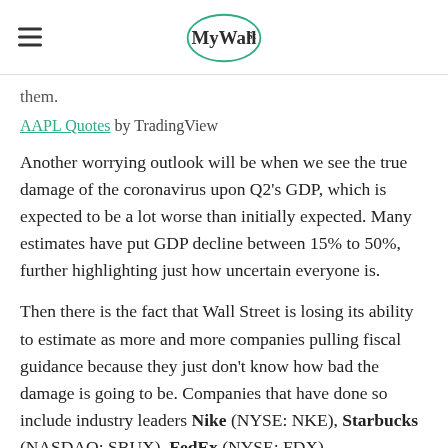MyWallSt
them.
AAPL Quotes by TradingView
Another worrying outlook will be when we see the true damage of the coronavirus upon Q2's GDP, which is expected to be a lot worse than initially expected. Many estimates have put GDP decline between 15% to 50%, further highlighting just how uncertain everyone is.
Then there is the fact that Wall Street is losing its ability to estimate as more and more companies pulling fiscal guidance because they just don't know how bad the damage is going to be. Companies that have done so include industry leaders Nike (NYSE: NKE), Starbucks (NASDAQ: SBUX), FedEx (NYSE: FDX),